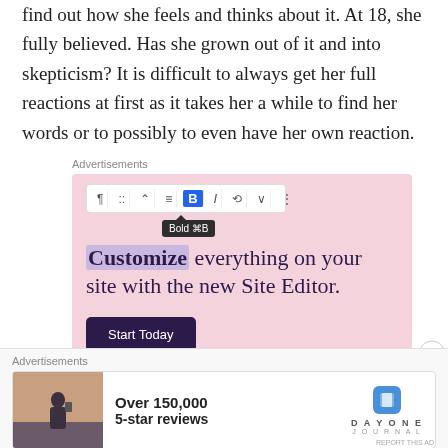find out how she feels and thinks about it. At 18, she fully believed. Has she grown out of it and into skepticism? It is difficult to always get her full reactions at first as it takes her a while to find her words or to possibly to even have her own reaction.
Advertisements
[Figure (screenshot): WordPress block editor advertisement showing a toolbar with Bold highlighted and tooltip 'Bold ⌘B', headline 'Customize everything on your site with the new Site Editor.' with 'Customize' in bold/highlighted, and a dark 'Start Today' button on pink background.]
Advertisements
[Figure (screenshot): DayOne Journal advertisement showing a person photographing a sunset, text 'Over 150,000 5-star reviews', and DayOne Journal logo.]